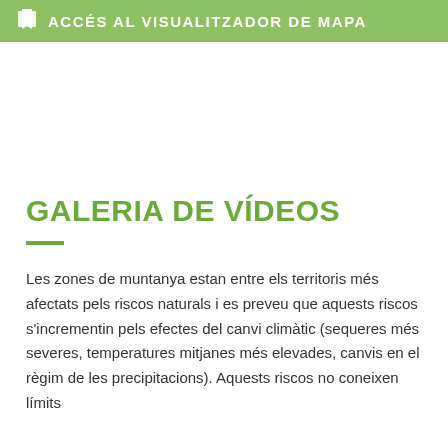ACCÉS AL VISUALITZADOR DE MAPA
GALERIA DE VÍDEOS
Les zones de muntanya estan entre els territoris més afectats pels riscos naturals i es preveu que aquests riscos s'incrementin pels efectes del canvi climàtic (sequeres més severes, temperatures mitjanes més elevades, canvis en el règim de les precipitacions). Aquests riscos no coneixen límits